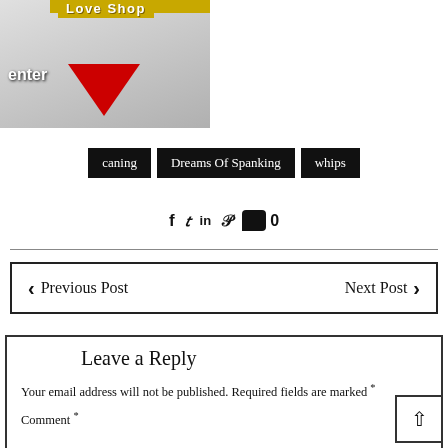[Figure (photo): Love Shop banner image with red heart, 'enter' text, and 'Love Shop' logo on gold background. Black and white photo background.]
caning
Dreams Of Spanking
whips
Social share icons: Facebook, Twitter, LinkedIn, Pinterest, Comment 0
< Previous Post   Next Post >
Leave a Reply
Your email address will not be published. Required fields are marked *
Comment *